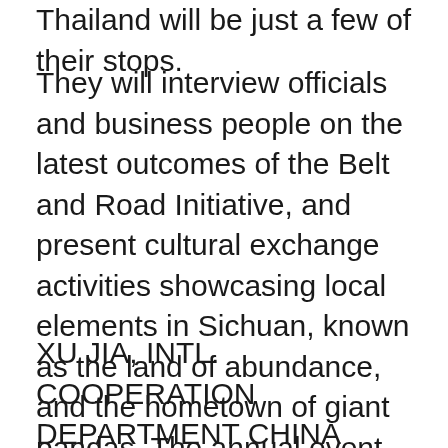Thailand will be just a few of their stops.
They will interview officials and business people on the latest outcomes of the Belt and Road Initiative, and present cultural exchange activities showcasing local elements in Sichuan, known as the land of abundance, and the hometown of giant pandas. The annual event, launched by China's National Radio and Television Administration, and Chengdu TV Station in 2017, is in its third edition.
XU JIA, INTL. COOPERATION DEPARTMENT CHINA STATE RADIO & TV ADMINISTRATION "This program is helpful to strengthen cultural exchanges among young people along the Belt and Road